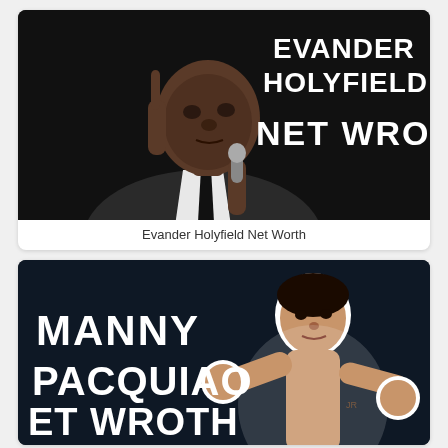[Figure (photo): Photo of Evander Holyfield in a suit holding a microphone, with text overlay reading 'EVANDER HOLYFIELD NET WROTH' on dark background]
Evander Holyfield Net Worth
[Figure (photo): Photo of Manny Pacquiao in boxing pose on dark navy background, with text overlay reading 'MANNY PACQUIAO ET WROTH']